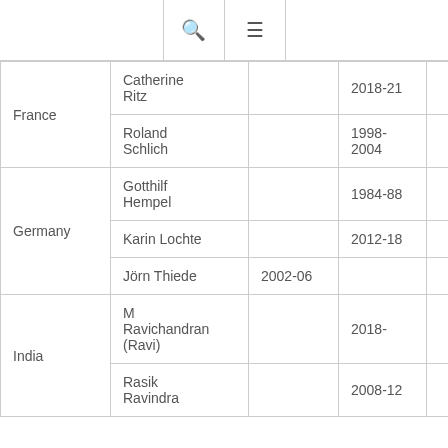🔍 ☰
| Country | Name | Col3 | Years |  |
| --- | --- | --- | --- | --- |
| France | Catherine Ritz |  | 2018-21 |  |
|  | Roland Schlich |  | 1998-2004 |  |
| Germany | Gotthilf Hempel |  | 1984-88 |  |
|  | Karin Lochte |  | 2012-18 |  |
|  | Jörn Thiede | 2002-06 |  |  |
| India | M Ravichandran (Ravi) |  | 2018- |  |
|  | Rasik Ravindra |  | 2008-12 |  |